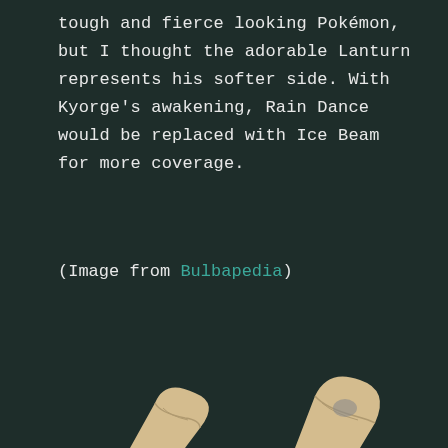tough and fierce looking Pokémon, but I thought the adorable Lanturn represents his softer side. With Kyorge's awakening, Rain Dance would be replaced with Ice Beam for more coverage.
(Image from Bulbapedia)
[Figure (illustration): Partial illustration of a Pokémon (likely Kyogre or similar), showing two tan/beige fin-like appendages at the bottom of the page against a dark background.]